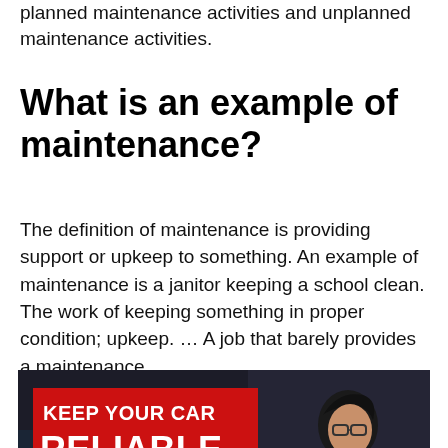planned maintenance activities and unplanned maintenance activities.
What is an example of maintenance?
The definition of maintenance is providing support or upkeep to something. An example of maintenance is a janitor keeping a school clean. The work of keeping something in proper condition; upkeep. … A job that barely provides a maintenance.
[Figure (photo): YouTube video thumbnail showing 'KEEP YOUR CAR RELIABLE' text on red banner, a person working on a car engine, and a YouTube play button overlay]